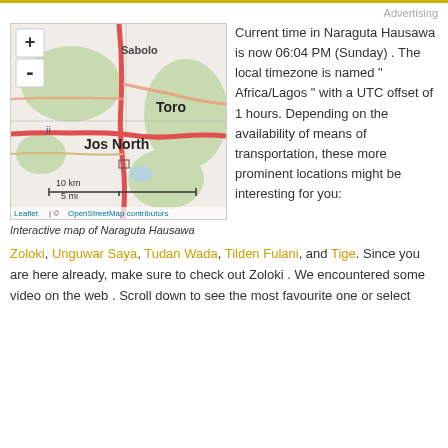Advertising
[Figure (map): Interactive map of Naraguta Hausawa showing Jos North area with roads, Sabolo label, and Toro label. Map includes zoom controls (+/-), scale bar (10 km / 5 mi), and attribution to Leaflet and OpenStreetMap contributors.]
Interactive map of Naraguta Hausawa
Current time in Naraguta Hausawa is now 06:04 PM (Sunday) . The local timezone is named " Africa/Lagos " with a UTC offset of 1 hours. Depending on the availability of means of transportation, these more prominent locations might be interesting for you:
Zoloki, Unguwar Saya, Tudan Wada, Tilden Fulani, and Tige. Since you are here already, make sure to check out Zoloki . We encountered some video on the web . Scroll down to see the most favourite one or select